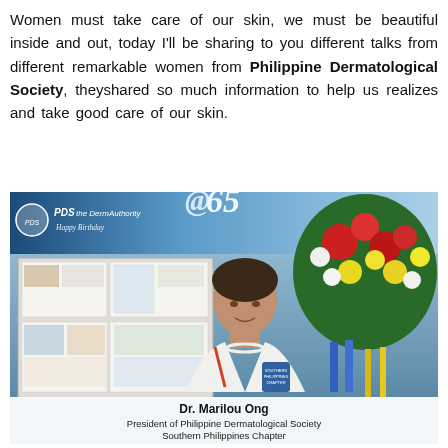Women must take care of our skin, we must be beautiful inside and out, today I'll be sharing to you different talks from different remarkable women from Philippine Dermatological Society, theyshared so much information to help us realizes and take good care of our skin.
[Figure (photo): A woman identified as Dr. Marilou Ong standing in front of a PDS (Philippine Dermatological Society) '@65' banner/exhibit board, with a large floral arrangement to the right. She is wearing a white polo shirt with a Southern Philippines Chapter badge and a lanyard. Below the photo are captions identifying her.]
Dr. Marilou Ong
President of Philippine Dermatological Society
Southern Philippines Chapter